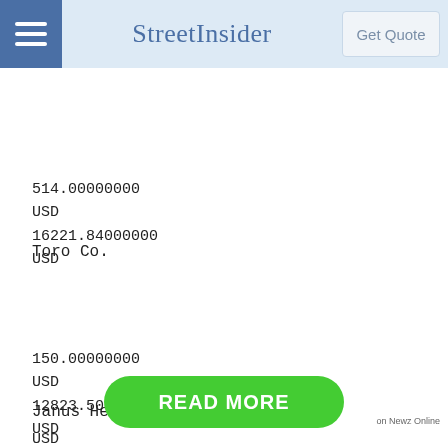StreetInsider | Get Quote
514.00000000
USD
16221.84000000
USD
Toro Co.
150.00000000
USD
12823.50000000
USD
Janus Henderson Group plc
READ MORE
on Newz Online
USD